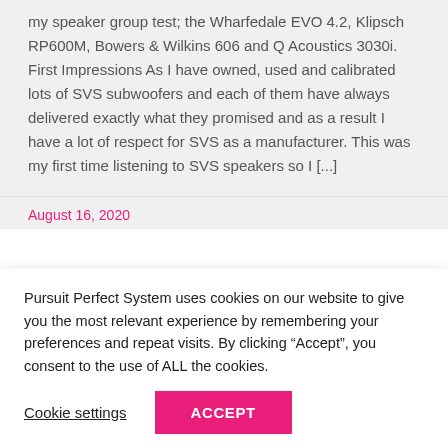my speaker group test; the Wharfedale EVO 4.2, Klipsch RP600M, Bowers & Wilkins 606 and Q Acoustics 3030i. First Impressions As I have owned, used and calibrated lots of SVS subwoofers and each of them have always delivered exactly what they promised and as a result I have a lot of respect for SVS as a manufacturer. This was my first time listening to SVS speakers so I [...]
August 16, 2020
Pursuit Perfect System uses cookies on our website to give you the most relevant experience by remembering your preferences and repeat visits. By clicking “Accept”, you consent to the use of ALL the cookies.
Cookie settings
ACCEPT